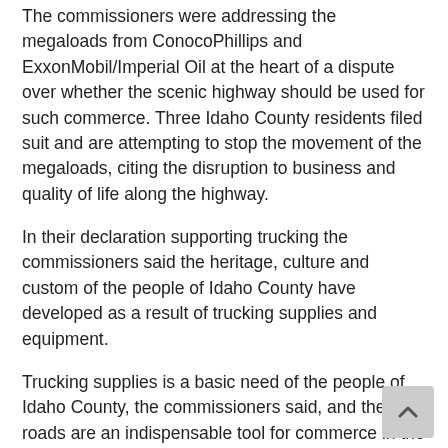The commissioners were addressing the megaloads from ConocoPhillips and ExxonMobil/Imperial Oil at the heart of a dispute over whether the scenic highway should be used for such commerce. Three Idaho County residents filed suit and are attempting to stop the movement of the megaloads, citing the disruption to business and quality of life along the highway.
In their declaration supporting trucking the commissioners said the heritage, culture and custom of the people of Idaho County have developed as a result of trucking supplies and equipment.
Trucking supplies is a basic need of the people of Idaho County, the commissioners said, and the roads are an indispensable tool for commerce in the county. More than 100 miles of